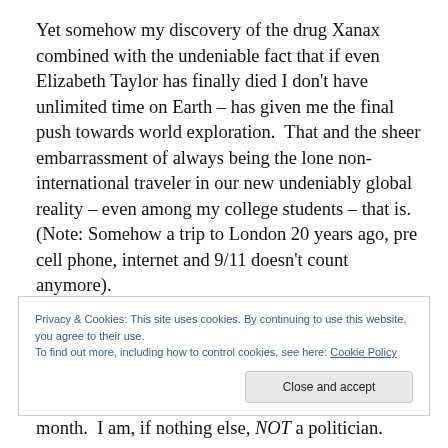Yet somehow my discovery of the drug Xanax combined with the undeniable fact that if even Elizabeth Taylor has finally died I don't have unlimited time on Earth – has given me the final push towards world exploration.  That and the sheer embarrassment of always being the lone non-international traveler in our new undeniably global reality – even among my college students – that is. (Note: Somehow a trip to London 20 years ago, pre cell phone, internet and 9/11 doesn't count anymore).
Privacy & Cookies: This site uses cookies. By continuing to use this website, you agree to their use. To find out more, including how to control cookies, see here: Cookie Policy
Close and accept
month.  I am, if nothing else, NOT a politician.